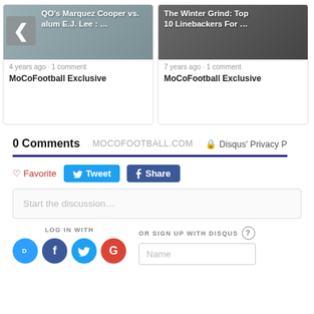[Figure (screenshot): Card with grey image showing text 'QO's Marquez Cooper vs. alum E.J. Lee : ...' with left chevron arrow overlay]
4 years ago • 1 comment
MoCoFootball Exclusive
[Figure (screenshot): Card with dark image showing 'The Winter Grind: Top 10 Linebackers For ...' with player images]
7 years ago • 1 comment
MoCoFootball Exclusive
0 Comments   MOCOFOOTBALL.COM   🔒 Disqus' Privacy P
♡ Favorite   Tweet   f Share
Start the discussion…
LOG IN WITH
OR SIGN UP WITH DISQUS ?
Name